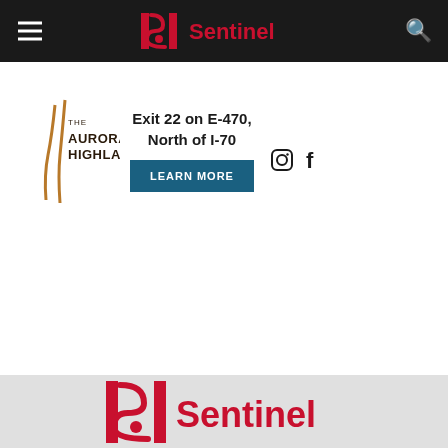Sentinel
[Figure (infographic): The Aurora Highlands advertisement banner with logo, text 'Exit 22 on E-470, North of I-70', a Learn More button, and social media icons]
[Figure (logo): Sentinel logo in red with stylized S mark in footer area on light gray background]